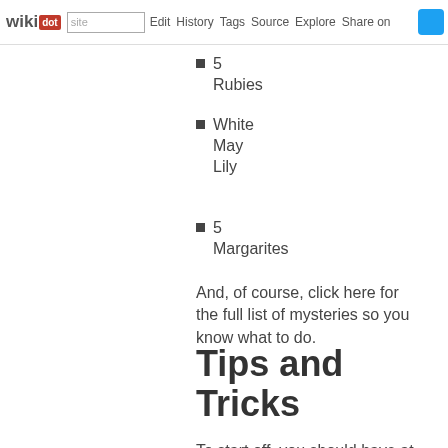wikidot | site | Edit | History | Tags | Source | Explore | Share on [Twitter]
5 Rubies
White May Lily
5 Margarites
And, of course, click here for the full list of mysteries so you know what to do.
Tips and Tricks
To start off, you should have at minimum 2